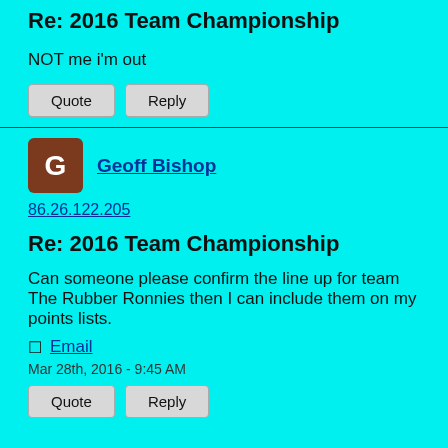Re: 2016 Team Championship
NOT me i'm out
Quote  Reply
Geoff Bishop
86.26.122.205
Re: 2016 Team Championship
Can someone please confirm the line up for team The Rubber Ronnies then I can include them on my points lists.
Email
Mar 28th, 2016 - 9:45 AM
Quote  Reply